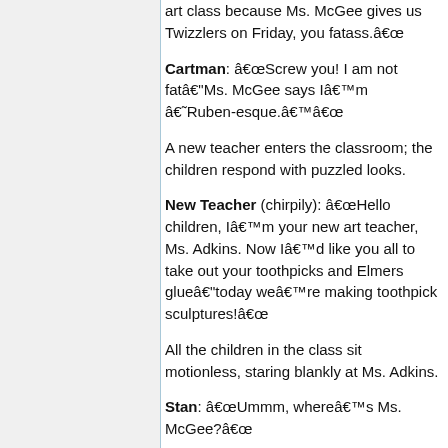art class because Ms. McGee gives us Twizzlers on Friday, you fatass.â
Cartman: âScrew you! I am not fatâMs. McGee says Iâm âRuben-esque.ââ
A new teacher enters the classroom; the children respond with puzzled looks.
New Teacher (chirpily): âHello children, Iâm your new art teacher, Ms. Adkins. Now Iâd like you all to take out your toothpicks and Elmers glueâtoday weâre making toothpick sculptures!â
All the children in the class sit motionless, staring blankly at Ms. Adkins.
Stan: âUmmm, whereâs Ms. McGee?â
Ms. Adkins: âMs. McGee wonât be teaching you art anymore; I will. Now...